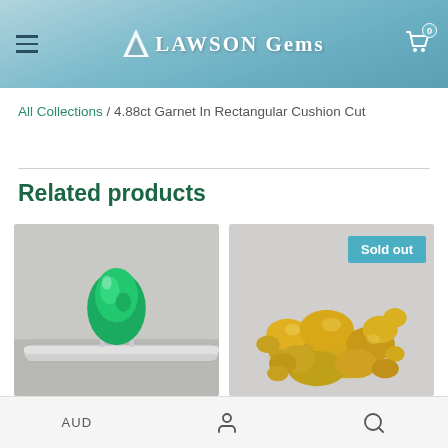LAWSON Gems
All Collections / 4.88ct Garnet In Rectangular Cushion Cut
Related products
[Figure (photo): A pear-shaped green emerald gemstone set in a silver ring holder, photographed on a grey background.]
[Figure (photo): A pile of gold nuggets on a light grey background with a 'Sold out' badge in the top right corner.]
AUD  [person icon]  [search icon]